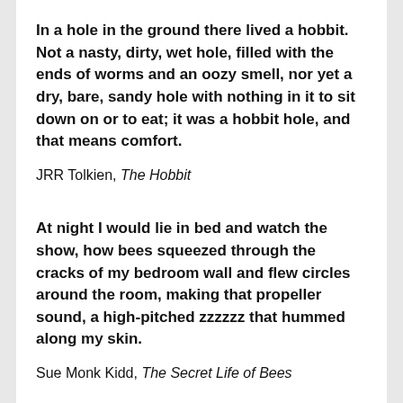In a hole in the ground there lived a hobbit. Not a nasty, dirty, wet hole, filled with the ends of worms and an oozy smell, nor yet a dry, bare, sandy hole with nothing in it to sit down on or to eat; it was a hobbit hole, and that means comfort.
JRR Tolkien, The Hobbit
At night I would lie in bed and watch the show, how bees squeezed through the cracks of my bedroom wall and flew circles around the room, making that propeller sound, a high-pitched zzzzzz that hummed along my skin.
Sue Monk Kidd, The Secret Life of Bees